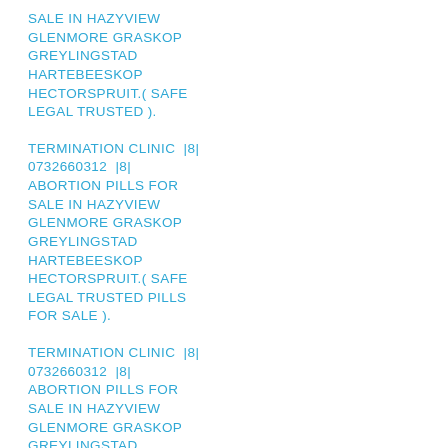SALE IN HAZYVIEW GLENMORE GRASKOP GREYLINGSTAD HARTEBEESKOP HECTORSPRUIT.( SAFE LEGAL TRUSTED ).
TERMINATION CLINIC |8| 0732660312 |8| ABORTION PILLS FOR SALE IN HAZYVIEW GLENMORE GRASKOP GREYLINGSTAD HARTEBEESKOP HECTORSPRUIT.( SAFE LEGAL TRUSTED PILLS FOR SALE ).
TERMINATION CLINIC |8| 0732660312 |8| ABORTION PILLS FOR SALE IN HAZYVIEW GLENMORE GRASKOP GREYLINGSTAD HARTEBEESKOP HECTORSPRUIT.( SAFE LEGAL TRUSTED PILLS FOR SALE ).